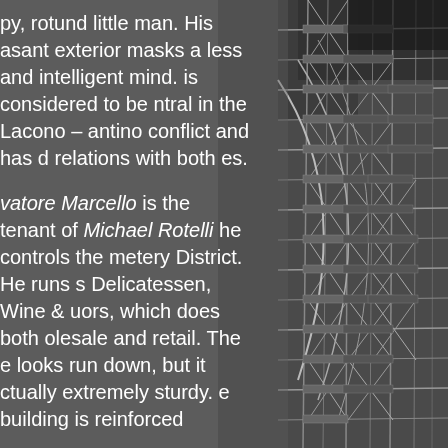py, rotund little man. His asant exterior masks a less and intelligent mind. is considered to be ntral in the Lacono – antino conflict and has d relations with both es.
vatore Marcello is the tenant of Michael Rotelli he controls the metery District. He runs s Delicatessen, Wine & uors, which does both olesale and retail. The e looks run down, but it ctually extremely sturdy. e building is reinforced
[Figure (illustration): Black and white architectural or engineering illustration showing a complex structural framework, possibly scaffolding or a building structure, rendered in detailed line art style on a dark grey background.]